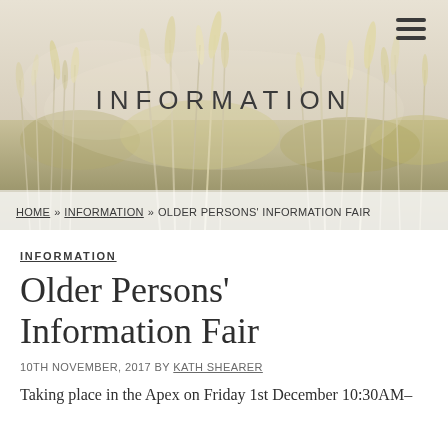[Figure (photo): Background hero image of golden grassy field/meadow with soft bokeh, muted greens and yellows]
INFORMATION
HOME » INFORMATION » OLDER PERSONS' INFORMATION FAIR
INFORMATION
Older Persons' Information Fair
10TH NOVEMBER, 2017 BY KATH SHEARER
Taking place in the Apex on Friday 1st December 10:30AM–